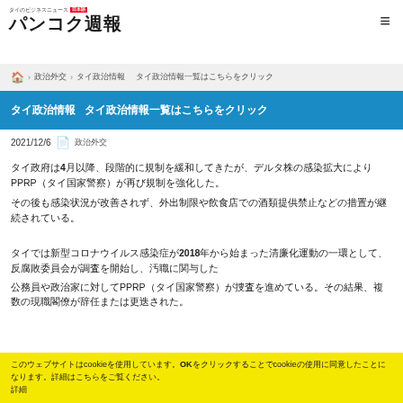タイのビジネスニュース 日本語 パンコク週報
🏠 > 政治外交 > タイ政治情報 タイ政治情報一覧はこちらをクリック
タイ政治情報 タイ政治情報一覧はこちらをクリック
2021/12/6　📄 政治外交
タイ政府は4月以降、段階的に規制を緩和してきたが、デルタ株の感染拡大によりPPRP（タイ国家警察）が再び規制を強化した。
その後も感染状況が改善されず、外出制限や飲食店での酒類提供禁止などの措置が継続されている。
タイでは新型コロナウイルス感染症が2018年から始まった清廉化運動の一環として、反腐敗委員会が調査を開始し、汚職に関与した
公務員や政治家に対してPPRP（タイ国家警察）が捜査を進めている。その結果、複数の現職閣僚が辞任または更迭された。
このウェブサイトはcookieを使用しています。OKをクリックすることでcookieの使用に同意したことになります。詳細